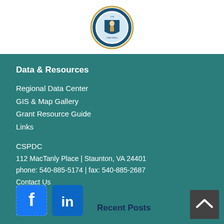[Figure (logo): Virginia state seal - circular seal with 'VIRGINIA' text and '1778' date, shown partially]
Data & Resources
Regional Data Center
GIS & Map Gallery
Grant Resource Guide
Links
CSPDC
112 MacTanly Place | Staunton, VA 24401
phone: 540-885-5174 | fax: 540-885-2687
Contact Us
[Figure (logo): Facebook logo icon - blue square with white 'f']
[Figure (logo): LinkedIn logo icon - blue square with white 'in']
Recent Posts
[Figure (other): Back to top button - dark grey square with white upward chevron arrow]